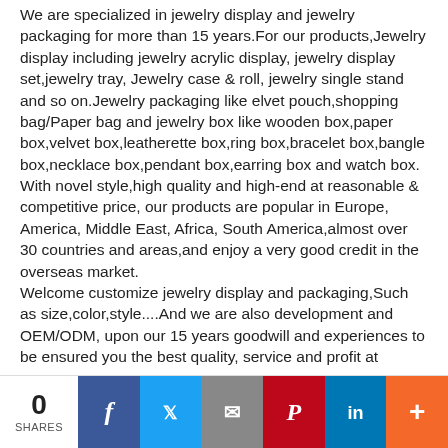We are specialized in jewelry display and jewelry packaging for more than 15 years.For our products,Jewelry display including jewelry acrylic display, jewelry display set,jewelry tray, Jewelry case & roll, jewelry single stand and so on.Jewelry packaging like elvet pouch,shopping bag/Paper bag and jewelry box like wooden box,paper box,velvet box,leatherette box,ring box,bracelet box,bangle box,necklace box,pendant box,earring box and watch box.
With novel style,high quality and high-end at reasonable & competitive price, our products are popular in Europe, America, Middle East, Africa, South America,almost over 30 countries and areas,and enjoy a very good credit in the overseas market.
Welcome customize jewelry display and packaging,Such as size,color,style....And we are also development and OEM/ODM, upon our 15 years goodwill and experiences to be ensured you the best quality, service and profit at
0 SHARES | f | twitter | email | P | in | +